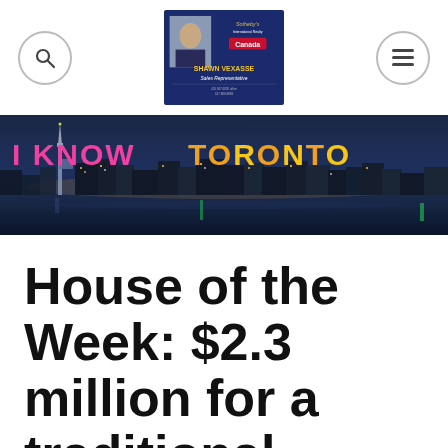Navigation header with search icon, Shawn Vexasse Sotheby's Canada logo, and menu icon
[Figure (photo): Toronto skyline at night with 'I KNOW TORONTO' text overlay in pink and yellow/orange letters, CN Tower visible on the left]
House of the Week: $2.3 million for a traditional Annex